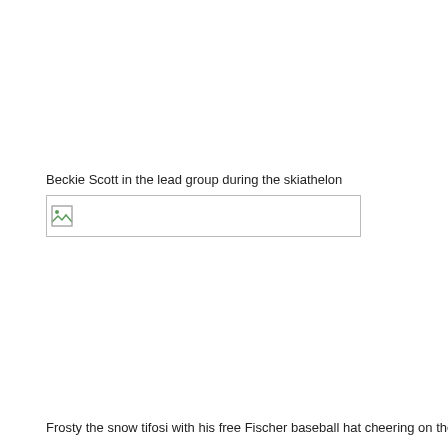Beckie Scott in the lead group during the skiathelon
[Figure (photo): Broken/missing image placeholder for a photo of Beckie Scott in the lead group during the skiathelon]
Frosty the snow tifosi with his free Fischer baseball hat cheering on the Italians